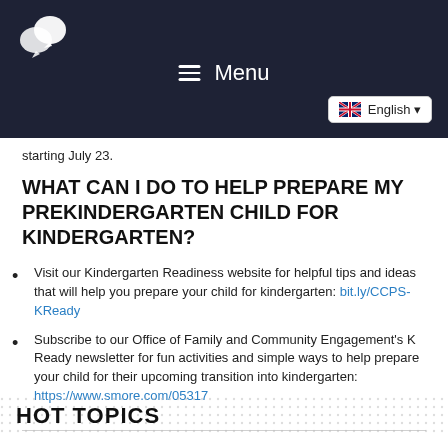[Figure (logo): Site logo with two speech bubble icons on dark navy background]
≡ Menu
English ▼
starting July 23.
WHAT CAN I DO TO HELP PREPARE MY PREKINDERGARTEN CHILD FOR KINDERGARTEN?
Visit our Kindergarten Readiness website for helpful tips and ideas that will help you prepare your child for kindergarten: bit.ly/CCPS-KReady
Subscribe to our Office of Family and Community Engagement's K Ready newsletter for fun activities and simple ways to help prepare your child for their upcoming transition into kindergarten: https://www.smore.com/05317
HOT TOPICS